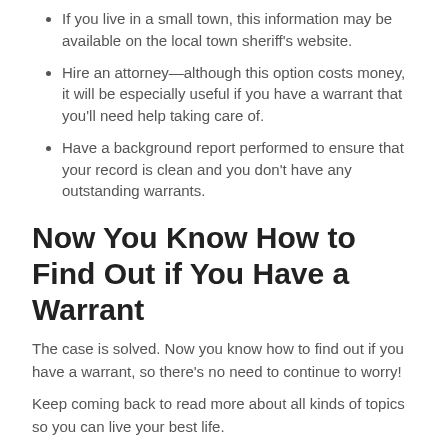If you live in a small town, this information may be available on the local town sheriff's website.
Hire an attorney—although this option costs money, it will be especially useful if you have a warrant that you'll need help taking care of.
Have a background report performed to ensure that your record is clean and you don't have any outstanding warrants.
Now You Know How to Find Out if You Have a Warrant
The case is solved. Now you know how to find out if you have a warrant, so there's no need to continue to worry!
Keep coming back to read more about all kinds of topics so you can live your best life.
LEAVE A COMMENT · BLOG